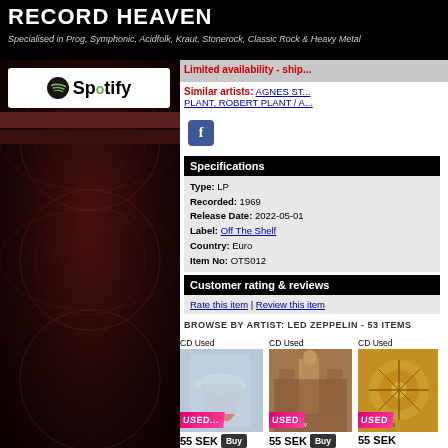RECORD HEAVEN - Specialised in Prog, Symphonic, Acidfolk, Kraut, Stonerock, Classic Rock & Heavy Metal
[Figure (logo): Spotify logo in white box on dark sidebar]
Limited availability - shi...
Similar artists: AGNES ST... PLANT, ROBERT PLANT / A...
Track List DISC 1 01 Train K... 02 I Can'... 03 Dazed... DISC 2 01 You S... 02 How M... Hunter/th... 03 Bye B... 04 Comm...
| Specifications |
| --- |
| Type: | LP |
| Recorded: | 1969 |
| Release Date: | 2022-05-01 |
| Label: | Off The Shelf |
| Country: | Euro |
| Item No: | OTS012 |
Customer rating & reviews
Rate this item | Review this item
BROWSE BY ARTIST: LED ZEPPELIN - 53 ITEMS
[Figure (photo): CD Used - Led Zeppelin 1 album cover, USED badge, 55 SEK Buy button]
55 SEK Buy
LED ZEPPELIN
Led Zeppelin 1 = Remaster =
[Figure (photo): CD Used - Led Zeppelin 4 album cover, USED badge, 55 SEK Buy button]
55 SEK Buy
LED ZEPPELIN
Led Zeppelin 4 = Remaster =
[Figure (photo): CD Used - Led Zeppelin 3 album cover (partial), USED badge, 55 SEK Buy button]
55 SEK Buy
LED ZEPP...
Led Zeppel... Remaster =